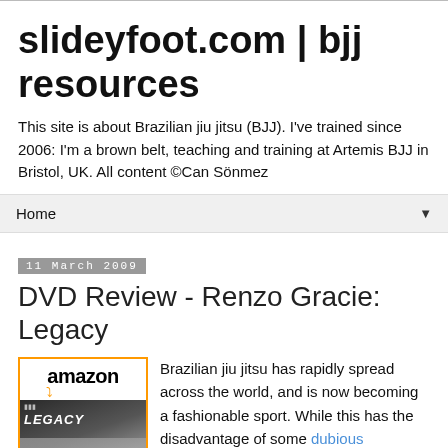slideyfoot.com | bjj resources
This site is about Brazilian jiu jitsu (BJJ). I've trained since 2006: I'm a brown belt, teaching and training at Artemis BJJ in Bristol, UK. All content ©Can Sönmez
Home ▼
11 March 2009
DVD Review - Renzo Gracie: Legacy
[Figure (photo): Amazon product listing image with orange-bordered box showing Amazon logo with arrow, and DVD cover of 'Legacy' featuring a person (Renzo Gracie)]
Brazilian jiu jitsu has rapidly spread across the world, and is now becoming a fashionable sport. While this has the disadvantage of some dubious individuals seeking to take advantage of demand for BJJ, it also means that excellent